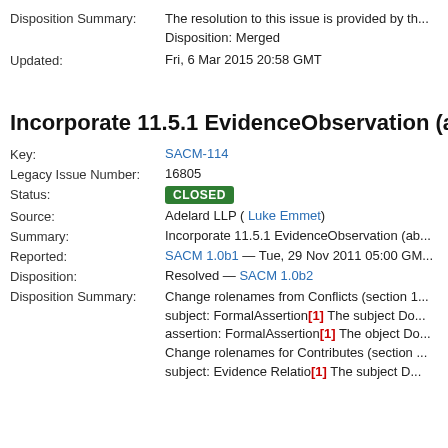Disposition Summary: The resolution to this issue is provided by th... Disposition: Merged
Updated: Fri, 6 Mar 2015 20:58 GMT
Incorporate 11.5.1 EvidenceObservation (abstra...
Key: SACM-114
Legacy Issue Number: 16805
Status: CLOSED
Source: Adelard LLP ( Luke Emmet)
Summary: Incorporate 11.5.1 EvidenceObservation (ab...
Reported: SACM 1.0b1 — Tue, 29 Nov 2011 05:00 GM...
Disposition: Resolved — SACM 1.0b2
Disposition Summary: Change rolenames from Conflicts (section 1... subject: FormalAssertion[1] The subject Do... assertion: FormalAssertion[1] The object Do... Change rolenames for Contributes (section ... subject: Evidence Relation [1] The subject D...